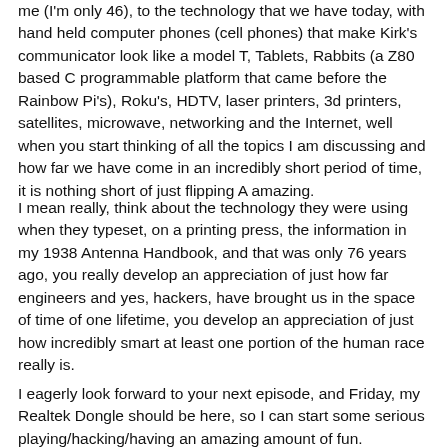me (I'm only 46), to the technology that we have today, with hand held computer phones (cell phones) that make Kirk's communicator look like a model T, Tablets, Rabbits (a Z80 based C programmable platform that came before the Rainbow Pi's), Roku's, HDTV, laser printers, 3d printers, satellites, microwave, networking and the Internet, well when you start thinking of all the topics I am discussing and how far we have come in an incredibly short period of time, it is nothing short of just flipping A amazing.
I mean really, think about the technology they were using when they typeset, on a printing press, the information in my 1938 Antenna Handbook, and that was only 76 years ago, you really develop an appreciation of just how far engineers and yes, hackers, have brought us in the space of time of one lifetime, you develop an appreciation of just how incredibly smart at least one portion of the human race really is.
I eagerly look forward to your next episode, and Friday, my Realtek Dongle should be here, so I can start some serious playing/hacking/having an amazing amount of fun.